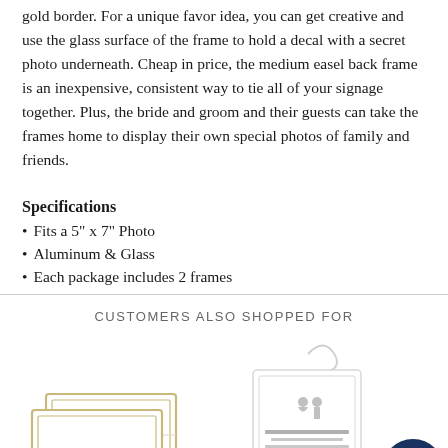gold border. For a unique favor idea, you can get creative and use the glass surface of the frame to hold a decal with a secret photo underneath. Cheap in price, the medium easel back frame is an inexpensive, consistent way to tie all of your signage together. Plus, the bride and groom and their guests can take the frames home to display their own special photos of family and friends.
Specifications
Fits a 5" x 7" Photo
Aluminum & Glass
Each package includes 2 frames
CUSTOMERS ALSO SHOPPED FOR
[Figure (photo): Two white tent-fold place cards with gold border, stacked/overlapping, on white background]
[Figure (photo): A hanging fabric or card tag with a loop at top, white background, with small text and a couple silhouette illustration]